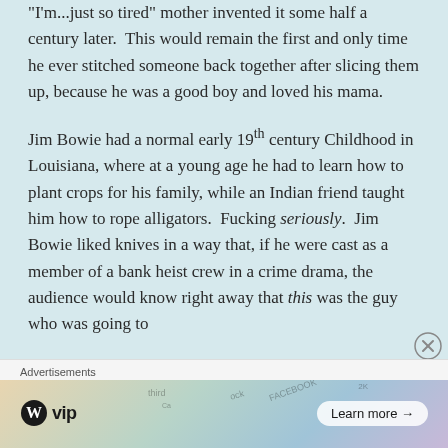"I'm...just so tired" mother invented it some half a century later.  This would remain the first and only time he ever stitched someone back together after slicing them up, because he was a good boy and loved his mama.

Jim Bowie had a normal early 19th century Childhood in Louisiana, where at a young age he had to learn how to plant crops for his family, while an Indian friend taught him how to rope alligators.  Fucking seriously.  Jim Bowie liked knives in a way that, if he were cast as a member of a bank heist crew in a crime drama, the audience would know right away that this was the guy who was going to
[Figure (other): Advertisement banner with WordPress VIP logo and a Learn more button, overlaid on a colorful card/social media background]